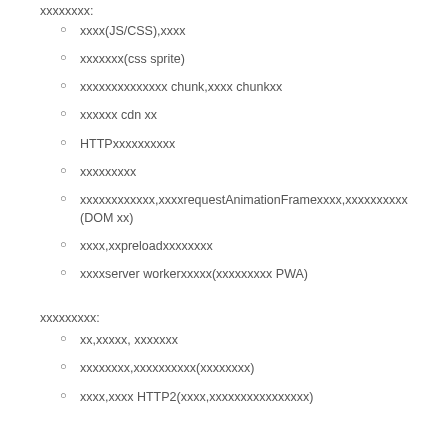xxxxxxxx:
xxxx(JS/CSS),xxxx
xxxxxxx(css sprite)
xxxxxxxxxxxxxx chunk,xxxx chunkxx
xxxxxx cdn xx
HTTPxxxxxxxxxx
xxxxxxxxx
xxxxxxxxxxxx,xxxxrequestAnimationFramexxxx,xxxxxxxxxx (DOM xx)
xxxx,xxpreloadxxxxxxxx
xxxxserver workerxxxxx(xxxxxxxxx PWA)
xxxxxxxxx:
xx,xxxxx, xxxxxxx
xxxxxxxx,xxxxxxxxxx(xxxxxxxx)
xxxx,xxxx HTTP2(xxxx,xxxxxxxxxxxxxxxx)